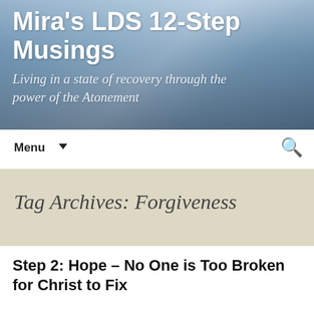Mira's LDS 12-Step Musings
Living in a state of recovery through the power of the Atonement
Menu
Tag Archives: Forgiveness
Step 2: Hope – No One is Too Broken for Christ to Fix
October 2, 2016   Working the Program   Fear, Forgiveness, Repentance, Step-2, Turn-to-Christ